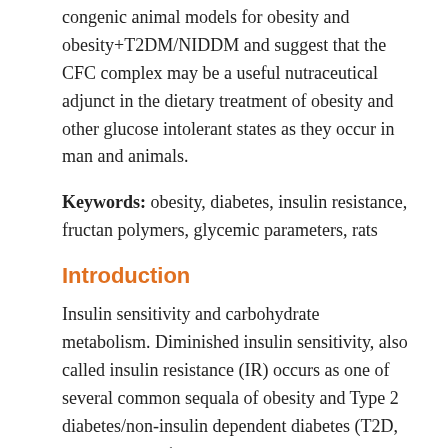congenic animal models for obesity and obesity+T2DM/NIDDM and suggest that the CFC complex may be a useful nutraceutical adjunct in the dietary treatment of obesity and other glucose intolerant states as they occur in man and animals.
Keywords: obesity, diabetes, insulin resistance, fructan polymers, glycemic parameters, rats
Introduction
Insulin sensitivity and carbohydrate metabolism. Diminished insulin sensitivity, also called insulin resistance (IR) occurs as one of several common sequala of obesity and Type 2 diabetes/non-insulin dependent diabetes (T2D, also NIDDM).1 The incidence and odds ratio linking obesity and T2DM/NIDDM in developed nations is now increasing to the point of becoming near alarming if not in epidemic proportions.2 Moreover, the economic cost of treating T2DM/NIDDM now consumes a major proportion of the